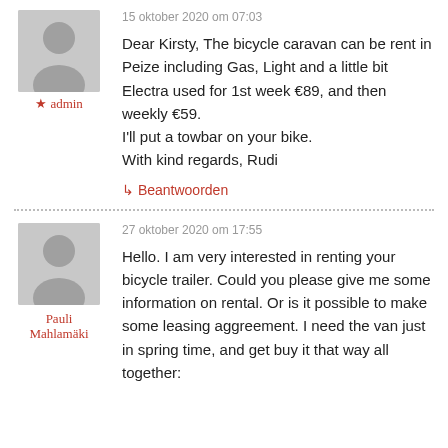15 oktober 2020 om 07:03
[Figure (illustration): Gray placeholder avatar icon (silhouette of person on gray background)]
★ admin
Dear Kirsty, The bicycle caravan can be rent in Peize including Gas, Light and a little bit Electra used for 1st week €89, and then weekly €59.
I'll put a towbar on your bike.
With kind regards, Rudi
↳ Beantwoorden
[Figure (illustration): Gray placeholder avatar icon (silhouette of person on gray background)]
Pauli Mahlamäki
27 oktober 2020 om 17:55
Hello. I am very interested in renting your bicycle trailer. Could you please give me some information on rental. Or is it possible to make some leasing aggreement. I need the van just in spring time, and get buy it that way all together: